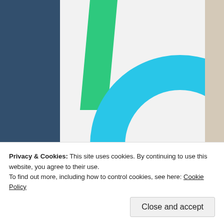[Figure (illustration): Advertisement banner with white background showing abstract geometric shapes: a green triangle/chevron shape on the left and a large cyan/blue circle arc on the right, partial view]
REPORT THIS AD
Privacy & Cookies: This site uses cookies. By continuing to use this website, you agree to their use.
To find out more, including how to control cookies, see here: Cookie Policy
Close and accept